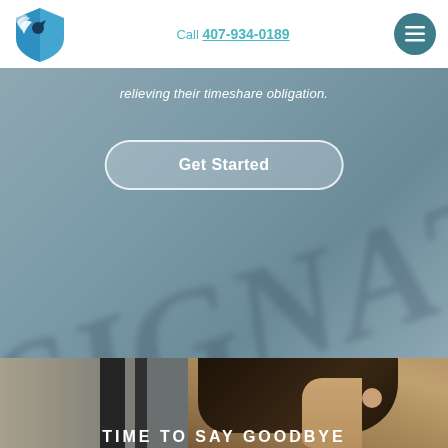Call 407-934-0189
relieving their timeshare obligation.
Get Started
[Figure (photo): Close-up photo of a person with dark hair, partially blurred background with plants and dark furniture, bottom of a timeshare exit company website]
TIME TO SAY GOODBYE